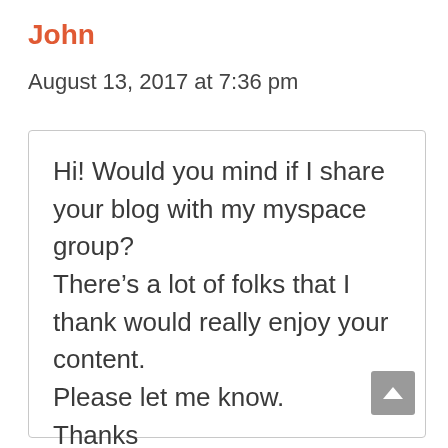John
August 13, 2017 at 7:36 pm
Hi! Would you mind if I share your blog with my myspace group? There’s a lot of folks that I thank would really enjoy your content. Please let me know. Thanks